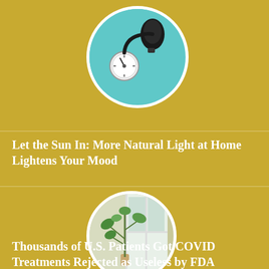[Figure (photo): Blood pressure monitor / sphygmomanometer with gauge on teal background, shown in circular crop]
Let the Sun In: More Natural Light at Home Lightens Your Mood
[Figure (photo): Indoor plant near a bright window with natural light, shown in circular crop]
Thousands of U.S. Patients Got COVID Treatments Rejected as Useless by FDA